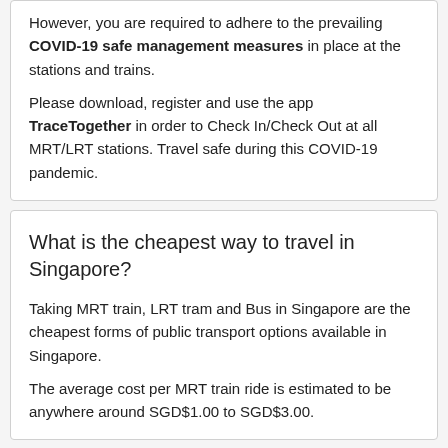However, you are required to adhere to the prevailing COVID-19 safe management measures in place at the stations and trains.
Please download, register and use the app TraceTogether in order to Check In/Check Out at all MRT/LRT stations. Travel safe during this COVID-19 pandemic.
What is the cheapest way to travel in Singapore?
Taking MRT train, LRT tram and Bus in Singapore are the cheapest forms of public transport options available in Singapore.
The average cost per MRT train ride is estimated to be anywhere around SGD$1.00 to SGD$3.00.